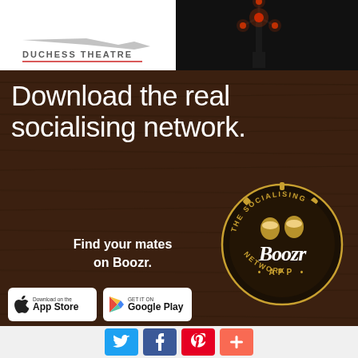[Figure (logo): Duchess Theatre logo with stylized text and a red underline]
[Figure (photo): Dark nighttime image of a windmill with red illuminated lights]
[Figure (infographic): Boozr App advertisement on dark wood background. Text reads 'Download the real socialising network. Find your mates on Boozr.' with App Store and Google Play download buttons, and a circular badge logo for 'The Socialising Boozr App Network'.]
[Figure (infographic): Social sharing bar with Twitter, Facebook, Pinterest, and a More (+) button]